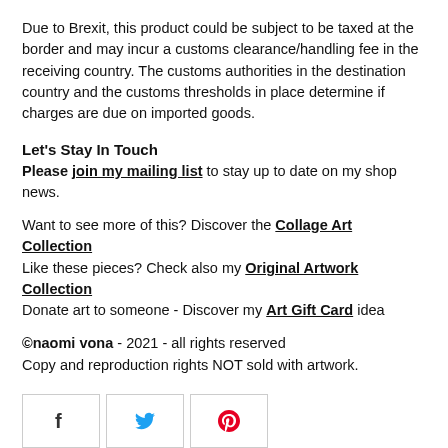Due to Brexit, this product could be subject to be taxed at the border and may incur a customs clearance/handling fee in the receiving country. The customs authorities in the destination country and the customs thresholds in place determine if charges are due on imported goods.
Let's Stay In Touch
Please join my mailing list to stay up to date on my shop news.
Want to see more of this? Discover the Collage Art Collection
Like these pieces? Check also my Original Artwork Collection
Donate art to someone - Discover my Art Gift Card idea
©naomi vona - 2021 - all rights reserved
Copy and reproduction rights NOT sold with artwork.
[Figure (other): Three social media icon buttons: Facebook (f), Twitter (bird), Pinterest (p)]